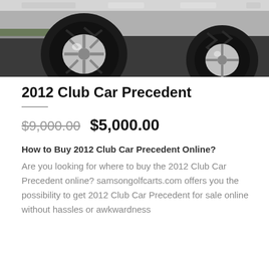[Figure (photo): Close-up photo of a golf cart tire and chrome wheel on a dark asphalt surface, partial view showing the tread pattern and rim detail]
2012 Club Car Precedent
$9,000.00  $5,000.00
How to Buy 2012 Club Car Precedent Online?
Are you looking for where to buy the 2012 Club Car Precedent online? samsongolfcarts.com offers you the possibility to get 2012 Club Car Precedent for sale online without hassles or awkwardness